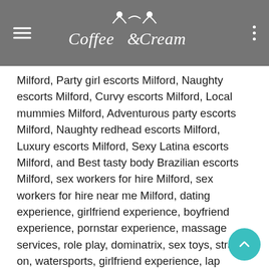Coffee & Cream
Milford, Party girl escorts Milford, Naughty escorts Milford, Curvy escorts Milford, Local mummies Milford, Adventurous party escorts Milford, Naughty redhead escorts Milford, Luxury escorts Milford, Sexy Latina escorts Milford, and Best tasty body Brazilian escorts Milford, sex workers for hire Milford, sex workers for hire near me Milford, dating experience, girlfriend experience, boyfriend experience, pornstar experience, massage services, role play, dominatrix, sex toys, strap on, watersports, girlfriend experience, lap dancing, role play, shared showers, tie and tease, cross-dressing, foot fetish, nipple play, porn star experience, massage, showers and bathtub games, city west escorts Milford, escort Ireland Milford, Milford independent escort, mature escorts in Milford,